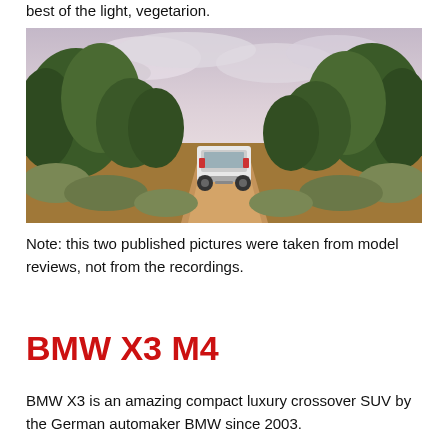best of the light, vegetarion.
[Figure (photo): A white SUV (BMW X3) driving away on a dusty dirt trail through desert scrubland and juniper trees, with a cloudy sky above.]
Note: this two published pictures were taken from model reviews, not from the recordings.
BMW X3 M4
BMW X3 is an amazing compact luxury crossover SUV by the German automaker BMW since 2003.